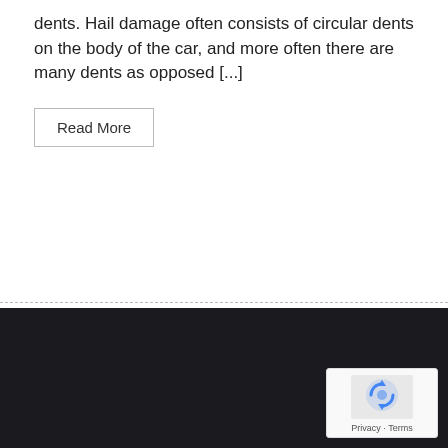dents. Hail damage often consists of circular dents on the body of the car, and more often there are many dents as opposed [...]
Read More
[Figure (other): Dark footer/background section with reCAPTCHA badge in the bottom-right corner showing the Google reCAPTCHA logo (circular arrows icon) and Privacy - Terms links.]